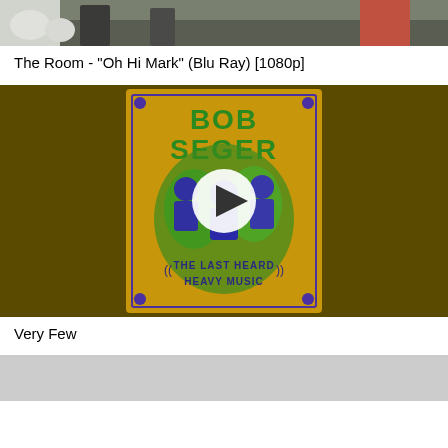[Figure (screenshot): Video thumbnail for 'The Room - Oh Hi Mark' showing people outdoors]
The Room - "Oh Hi Mark" (Blu Ray) [1080p]
[Figure (screenshot): Bob Seger - The Last Heard Heavy Music album art with play button overlay]
Very Few
[Figure (screenshot): Gray placeholder thumbnail]